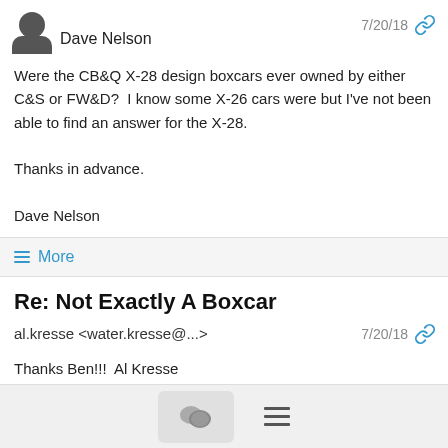Dave Nelson
7/20/18
Were the CB&Q X-28 design boxcars ever owned by either C&S or FW&D?  I know some X-26 cars were but I've not been able to find an answer for the X-28.

Thanks in advance.

Dave Nelson
≡ More
Re: Not Exactly A Boxcar
al.kresse <water.kresse@...>
7/20/18
Thanks Ben!!!  Al Kresse
Show quoted text